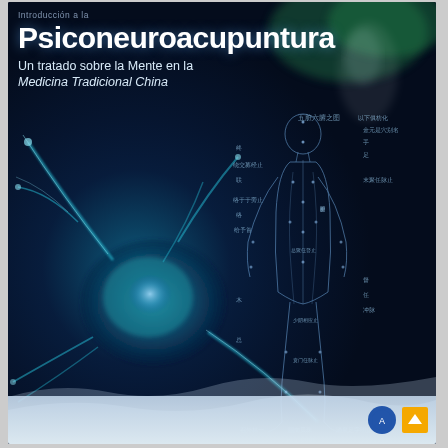[Figure (illustration): Book cover for 'Psiconeuroacupuntura' - a medical book about the mind in Traditional Chinese Medicine. Features a glowing blue-green neuron cell on the left side and a traditional Chinese acupuncture diagram of the human body on the right side, overlaid on a dark navy background. Chinese characters and acupuncture meridian lines are visible on the body diagram.]
Psiconeuroacupuntura
Un tratado sobre la Mente en la Medicina Tradicional China